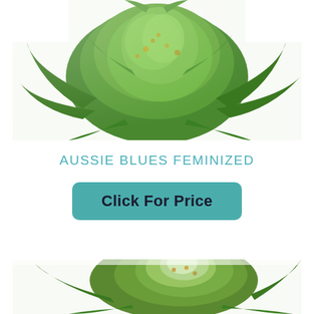[Figure (photo): Close-up photo of a green cannabis plant bud with dense trichomes on white background]
AUSSIE BLUES FEMINIZED
Click For Price
[Figure (photo): Close-up photo of another cannabis plant bud with white trichomes and green leaves on white background]